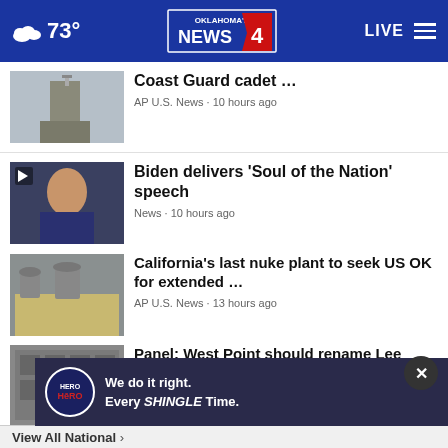73° Oklahoma's News 4 LIVE
Coast Guard cadet … AP U.S. News • 10 hours ago
Biden delivers 'Soul of the Nation' speech News • 10 hours ago
California's last nuke plant to seek US OK for extended … AP U.S. News • 13 hours ago
Panel: West Point should rename Lee Barracks, nix … AP U.S. News • 12 hours ago
US agents search properties linked to Russian oligarch AP U.S. News • 13 hours ago
[Figure (screenshot): Hero Roofing advertisement: We do it right. Every SHINGLE Time.]
View All National ›